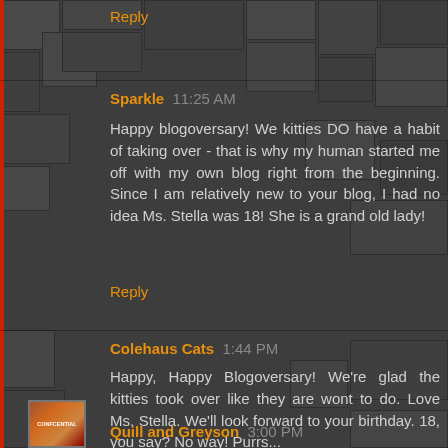Reply
Sparkle 11:25 AM
Happy blogoversary! We kitties DO have a habit of taking over - that is why my human started me off with my own blog right from the beginning. Since I am relatively new to your blog, I had no idea Ms. Stella was 18! She is a grand old lady!
Reply
Colehaus Cats 1:44 PM
Happy, Happy Blogoversary! We're glad the kitties took over like they are wont to do. Love Ms. Stella. We'll look forward to your birthday. 18, you say? No way! Purrs...
Reply
Quill and Greyson 3:00 PM